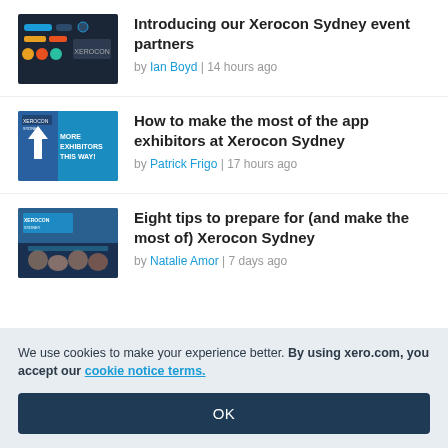[Figure (screenshot): Thumbnail image for Xerocon Sydney event partners article — dark background with colorful UI elements]
Introducing our Xerocon Sydney event partners
by Ian Boyd | 14 hours ago
[Figure (photo): Thumbnail image for app exhibitors article — blue sign with arrow and text about exhibitors]
How to make the most of the app exhibitors at Xerocon Sydney
by Patrick Frigo | 17 hours ago
[Figure (photo): Thumbnail image for Eight tips article — crowd at Xerocon Sydney event]
Eight tips to prepare for (and make the most of) Xerocon Sydney
by Natalie Amor | 7 days ago
We use cookies to make your experience better. By using xero.com, you accept our cookie notice terms.